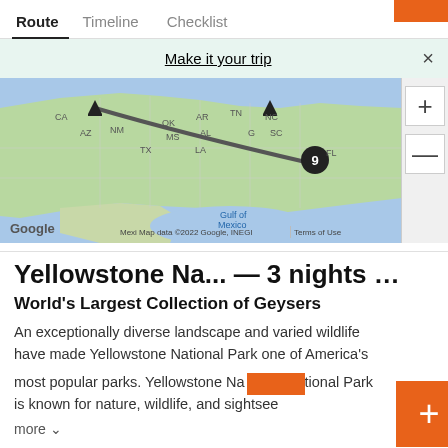Route  Timeline  Checklist
Make it your trip
[Figure (map): Google map showing US route with markers, including a numbered marker '9' near Florida/Georgia area, and a route line crossing the country. Labels include state abbreviations: CA, AZ, NM, OK, AR, TN, NC, MS, AL, SC, TX, LA, FL, Gulf of Mexico, Mexi. Map data ©2022 Google, INEGI. Terms of Use.]
Yellowstone Na... — 3 nights …
World's Largest Collection of Geysers
An exceptionally diverse landscape and varied wildlife have made Yellowstone National Park one of America's most popular parks. Yellowstone National Park is known for nature, wildlife, and sightseeing.
more